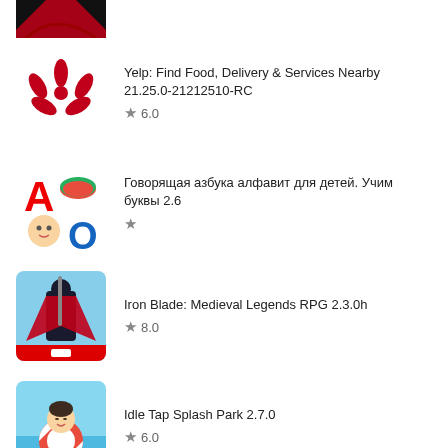[Figure (screenshot): Partial app icon at top (dark background with red shape)]
Yelp: Find Food, Delivery & Services Nearby 21.25.0-21212510-RC ★ 6.0
Говорящая азбука алфавит для детей. Учим буквы 2.6 ★
Iron Blade: Medieval Legends RPG 2.3.0h ★ 8.0
Idle Tap Splash Park 2.7.0 ★ 6.0
[Figure (screenshot): Partial app icon at bottom (orange/yellow background)]